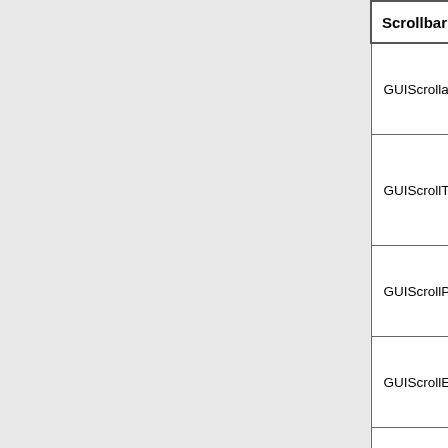| Scrollbar Controls |  |
| --- | --- |
| GUIScrollablePanel | The area w… controlled b… scrollbar |
| GUIScrollThumb | the bar on a… scrollbar wh… clicked and… dragged to |
| GUIScrollPagePanel | The scrollba… (has a scro… inside) |
| GUIScrollEndButton | the arrow b… on either en… scrollbar |
| GUICollection | Maintains a… expandable… items to be… scrolled thr… |
|  |  |